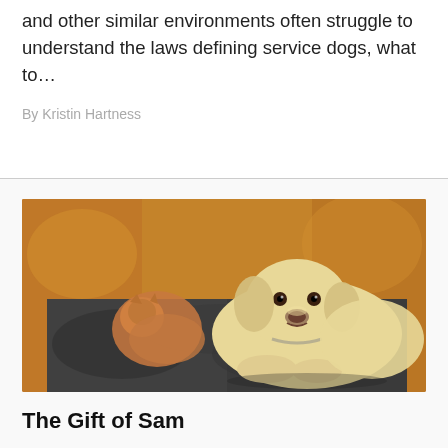and other similar environments often struggle to understand the laws defining service dogs, what to...
By Kristin Hartness
[Figure (photo): A hairless cat and a yellow Labrador retriever lying together on a dark blanket on a brown leather couch]
The Gift of Sam